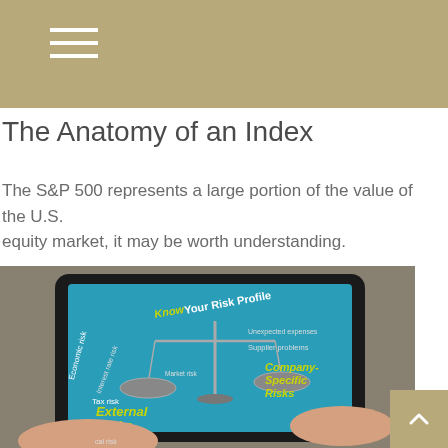The Anatomy of an Index
The S&P 500 represents a large portion of the value of the U.S. equity market, it may be worth understanding.
[Figure (photo): Hands holding a tablet displaying a 'Know Your Risk Profile' infographic with a balance scale showing External Risks (Economic risk, Tax risk, Interest rate risk, Market risk) on the left and Company-Specific Risks (Unexpected expenses, Supplier problems, Management issues) on the right, on a teal background.]